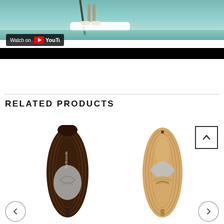[Figure (screenshot): YouTube video thumbnail showing a person standing on a paddleboard on water, with a 'Watch on YouTube' overlay badge at bottom left]
RELATED PRODUCTS
[Figure (photo): Dark wood grain paddleboard viewed from above, showing surfboards brand markings and a grey traction pad]
[Figure (photo): Light wood grain paddleboard viewed from above, showing pale blue and tan graphics and traction pad]